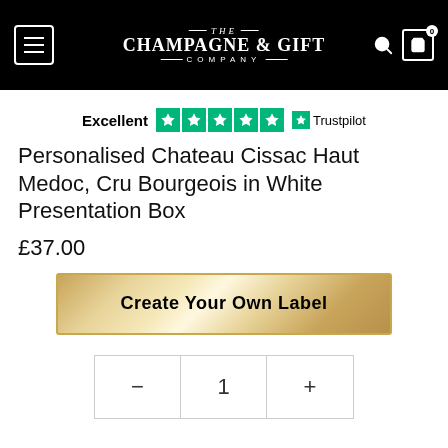THE CHAMPAGNE & GIFT COMPANY
Excellent ★★★★★ Trustpilot
Personalised Chateau Cissac Haut Medoc, Cru Bourgeois in White Presentation Box
£37.00
Create Your Own Label
- 1 +